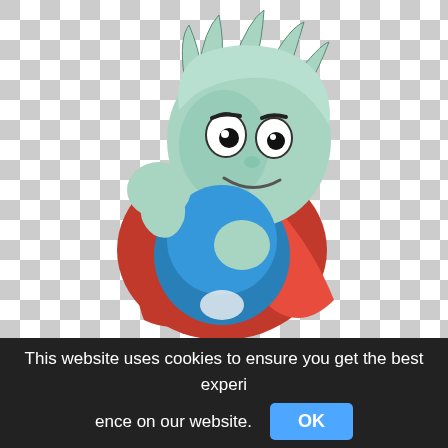[Figure (illustration): Cartoon superhero child character with light green skin and hair, wearing a blue suit and red cape, with a confident pose. Background shows a grey and white checkerboard pattern indicating transparency.]
This website uses cookies to ensure you get the best experi ence on our website.
OK